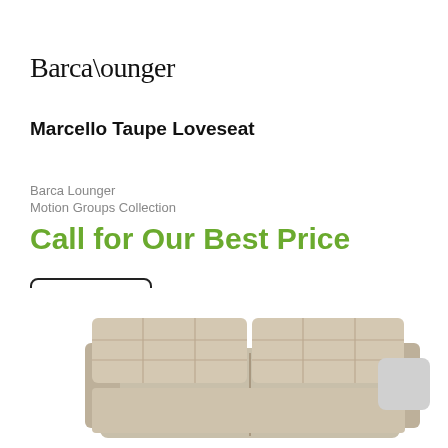BarcaLounger
Marcello Taupe Loveseat
Barca Lounger
Motion Groups Collection
Call for Our Best Price
See Details
[Figure (photo): Taupe colored loveseat recliner sofa, partially visible at the bottom of the page, light beige/cream leather with quilted back cushions]